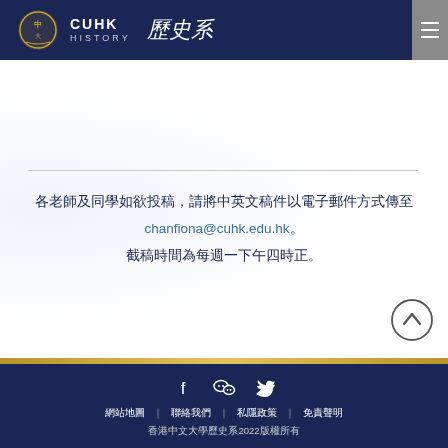CUHK HISTORY 歷史系
各老師及同學如欲投稿，請將中英文稿件以電子郵件方式傳至 chanfiona@cuhk.edu.hk。截稿時間為每週一下午四時正。
[Figure (other): Scroll-to-top button: circle with upward chevron]
Facebook WeChat Twitter icons | 網站地圖 | 聯絡我們 | 私隱政策 | 免責聲明 | 香港中文大學歷史系2022版權所有